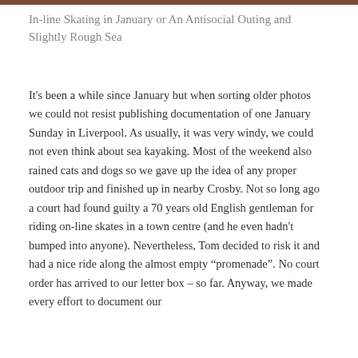[Figure (photo): Top edge of a photo, showing a dark brown/reddish horizontal bar at the very top of the page — the bottom edge of a cropped image visible as a thin strip.]
In-line Skating in January or An Antisocial Outing and Slightly Rough Sea
It’s been a while since January but when sorting older photos we could not resist publishing documentation of one January Sunday in Liverpool. As usually, it was very windy, we could not even think about sea kayaking. Most of the weekend also rained cats and dogs so we gave up the idea of any proper outdoor trip and finished up in nearby Crosby. Not so long ago a court had found guilty a 70 years old English gentleman for riding on-line skates in a town centre (and he even hadn’t bumped into anyone). Nevertheless, Tom decided to risk it and had a nice ride along the almost empty “promenade”. No court order has arrived to our letter box – so far. Anyway, we made every effort to document our